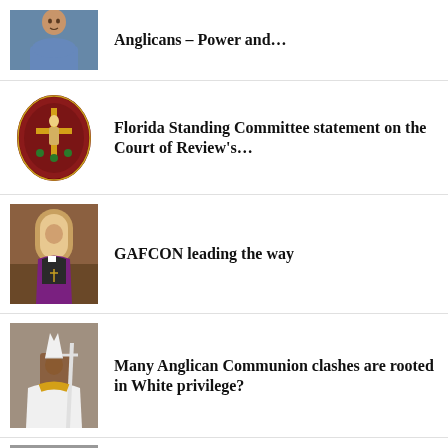[Figure (photo): Man in blue shirt, partial view, article thumbnail]
Anglicans – Power and…
[Figure (logo): Diocese of Florida seal/crest, oval shape with saint figure]
Florida Standing Committee statement on the Court of Review's…
[Figure (photo): Bishop in purple vestments standing in church interior]
GAFCON leading the way
[Figure (photo): African bishop in white vestments holding a cross]
Many Anglican Communion clashes are rooted in White privilege?
[Figure (photo): Partial thumbnail of another article image, bottom of page]